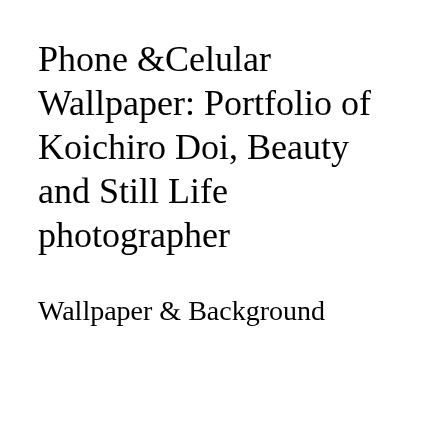Phone &Celular Wallpaper: Portfolio of Koichiro Doi, Beauty and Still Life photographer
Wallpaper & Background